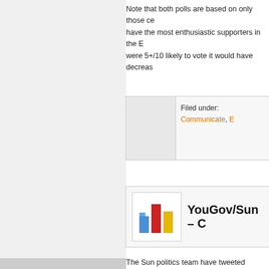Note that both polls are based on only those ce... have the most enthusiastic supporters in the E... were 5+/10 likely to vote it would have decreas...
Filed under: Communicate, E...
[Figure (other): Bar chart icon for YouGov/Sun post header]
YouGov/Sun – C...
The Sun politics team have tweeted tonight's Y... Labour lead as yesterday: CON 32%, LAB 37%...
There's more interesting electoral news though... election in what would normally be a safe Tory...
It is a... f... th... l... th... t... l... bl...